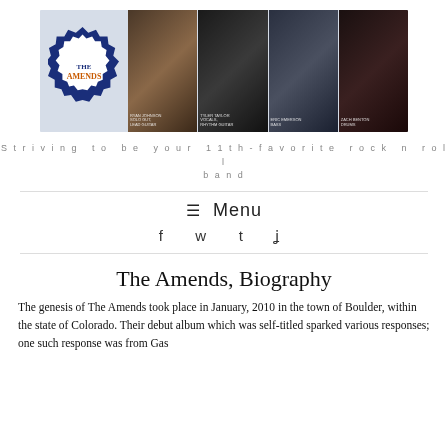[Figure (photo): The Amends band header banner with logo on left (blue jagged-edge badge with 'THE AMENDS' in orange text) and four band member photos on right against light blue background]
Striving to be your 11th-favorite rock n roll band
≡ Menu
f  ✓  t  ⌁
The Amends, Biography
The genesis of The Amends took place in January, 2010 in the town of Boulder, within the state of Colorado. Their debut album which was self-titled sparked various responses; one such response was from Gas